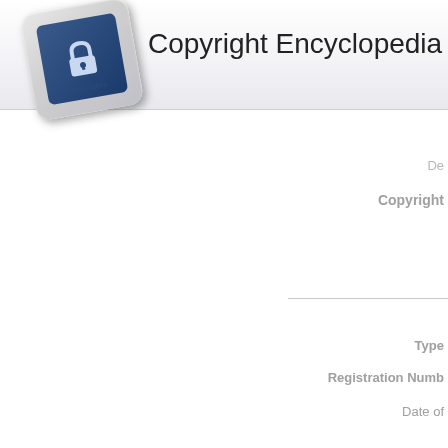[Figure (logo): Copyright Encyclopedia logo: a keyboard key with a lock icon and 'Copyrights' label, tilted at an angle]
Copyright Encyclopedia
De
Copyright
Type
Registration Numb
Date of
Copyr